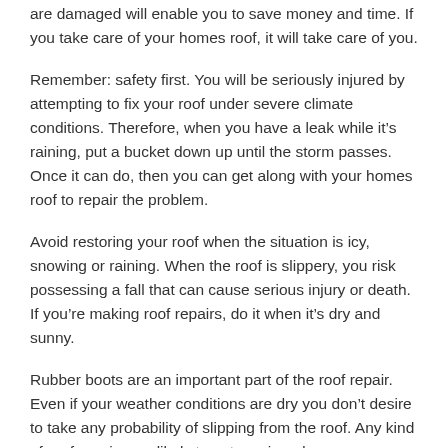are damaged will enable you to save money and time. If you take care of your homes roof, it will take care of you.
Remember: safety first. You will be seriously injured by attempting to fix your roof under severe climate conditions. Therefore, when you have a leak while it’s raining, put a bucket down up until the storm passes. Once it can do, then you can get along with your homes roof to repair the problem.
Avoid restoring your roof when the situation is icy, snowing or raining. When the roof is slippery, you risk possessing a fall that can cause serious injury or death. If you’re making roof repairs, do it when it’s dry and sunny.
Rubber boots are an important part of the roof repair. Even if your weather conditions are dry you don’t desire to take any probability of slipping from the roof. Any kind of roof repairs are likely to put you in a dangerous situation.